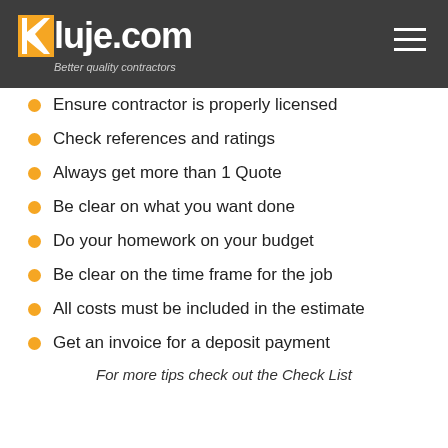Kluje.com — Better quality contractors
Ensure contractor is properly licensed
Check references and ratings
Always get more than 1 Quote
Be clear on what you want done
Do your homework on your budget
Be clear on the time frame for the job
All costs must be included in the estimate
Get an invoice for a deposit payment
For more tips check out the Check List